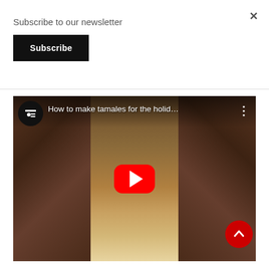Subscribe to our newsletter
Subscribe
[Figure (screenshot): YouTube video embed showing 'How to make tamales for the holid...' with a thumbnail of tamales on a wooden board flanked by darker food imagery on both sides, red YouTube play button in center, and a scroll-to-top red circular button in bottom right]